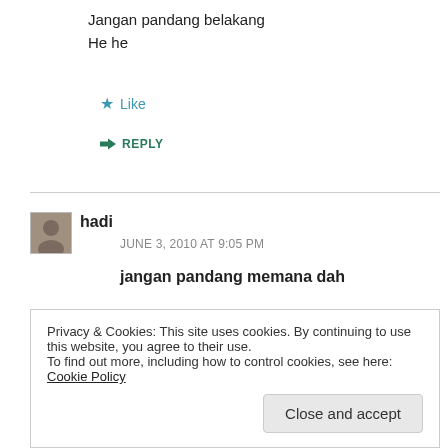Jangan pandang belakang
He he
★ Like
↪ REPLY
hadi
JUNE 3, 2010 AT 9:05 PM
jangan pandang memana dah
★ Like
Privacy & Cookies: This site uses cookies. By continuing to use this website, you agree to their use.
To find out more, including how to control cookies, see here: Cookie Policy
Close and accept